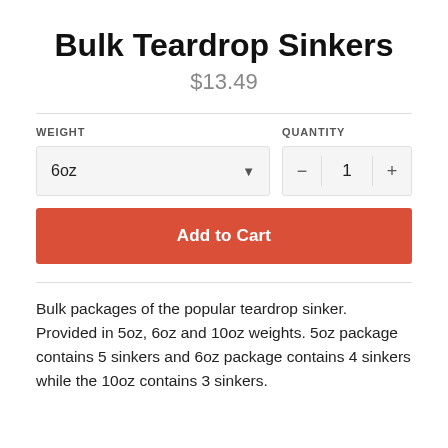Bulk Teardrop Sinkers
$13.49
WEIGHT
6oz
QUANTITY
1
Add to Cart
Bulk packages of the popular teardrop sinker. Provided in 5oz, 6oz and 10oz weights. 5oz package contains 5 sinkers and 6oz package contains 4 sinkers while the 10oz contains 3 sinkers.